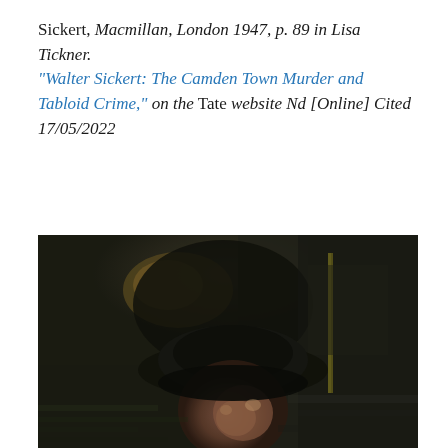Sickert, Macmillan, London 1947, p. 89 in Lisa Tickner. "Walter Sickert: The Camden Town Murder and Tabloid Crime," on the Tate website Nd [Online] Cited 17/05/2022
[Figure (photo): A dark oil painting detail showing the head and shoulders of a figure wearing a dark hat, painted in loose impressionistic brushwork with murky greens, browns and blacks. A vertical yellow line is visible in the upper right background.]